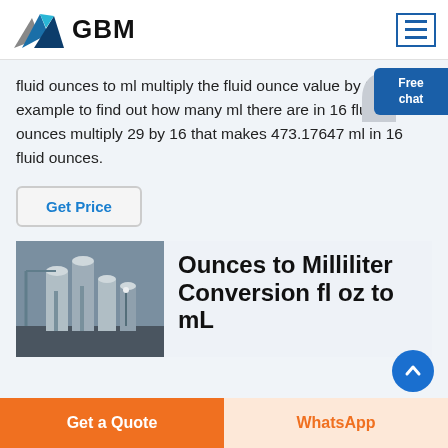GBM
fluid ounces to ml multiply the fluid ounce value by 29 For example to find out how many ml there are in 16 fluid ounces multiply 29 by 16 that makes 473.17647 ml in 16 fluid ounces.
Get Price
Ounces to Milliliter Conversion fl oz to mL
Get a Quote | WhatsApp